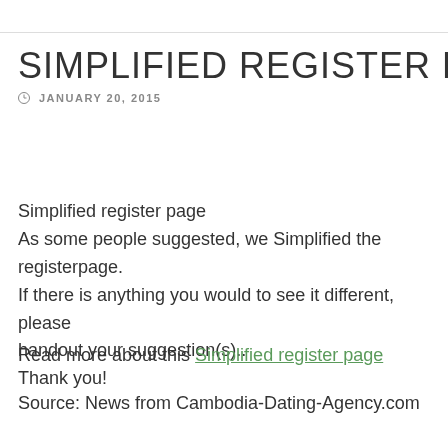SIMPLIFIED REGISTER PAGE
JANUARY 20, 2015
Simplified register page
As some people suggested, we Simplified the registerpage.
If there is anything you would to see it different, please handout your suggestion(s)..
Thank you!
Read more about this Simplified register page
Source: News from Cambodia-Dating-Agency.com